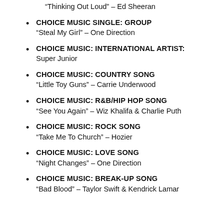“Thinking Out Loud” – Ed Sheeran
CHOICE MUSIC SINGLE: GROUP
“Steal My Girl” – One Direction
CHOICE MUSIC: INTERNATIONAL ARTIST:
Super Junior
CHOICE MUSIC: COUNTRY SONG
“Little Toy Guns” – Carrie Underwood
CHOICE MUSIC: R&B/HIP HOP SONG
“See You Again” – Wiz Khalifa & Charlie Puth
CHOICE MUSIC: ROCK SONG
“Take Me To Church” – Hozier
CHOICE MUSIC: LOVE SONG
“Night Changes” – One Direction
CHOICE MUSIC: BREAK-UP SONG
“Bad Blood” – Taylor Swift & Kendrick Lamar